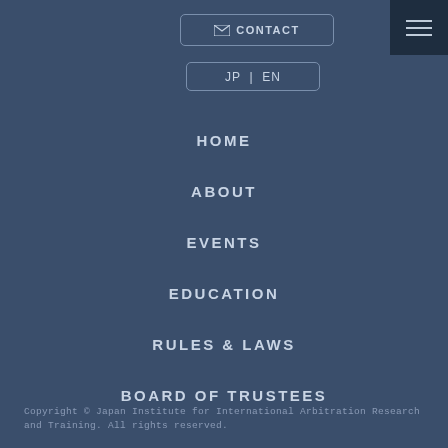[Figure (screenshot): Hamburger menu icon (three horizontal lines) in dark navy square, top right corner]
✉ CONTACT
JP | EN
HOME
ABOUT
EVENTS
EDUCATION
RULES & LAWS
BOARD OF TRUSTEES
Copyright © Japan Institute for International Arbitration Research and Training. All rights reserved.